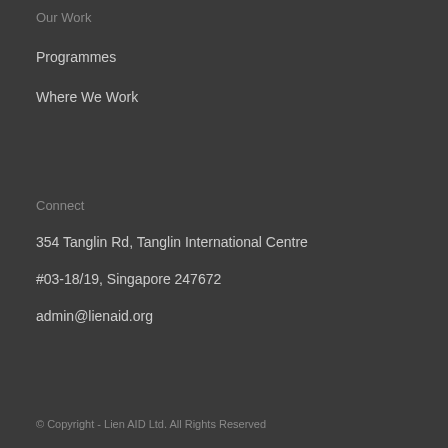Our Work
Programmes
Where We Work
Connect
354 Tanglin Rd, Tanglin International Centre
#03-18/19, Singapore 247672
admin@lienaid.org
© Copyright - Lien AID Ltd. All Rights Reserved